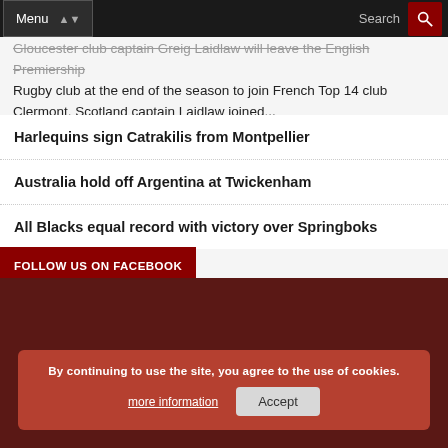Menu | Search
Gloucester club captain Greig Laidlaw will leave the English Premiership Rugby club at the end of the season to join French Top 14 club Clermont. Scotland captain Laidlaw joined...
Harlequins sign Catrakilis from Montpellier
Australia hold off Argentina at Twickenham
All Blacks equal record with victory over Springboks
FOLLOW US ON FACEBOOK
By continuing to use the site, you agree to the use of cookies. more information  Accept